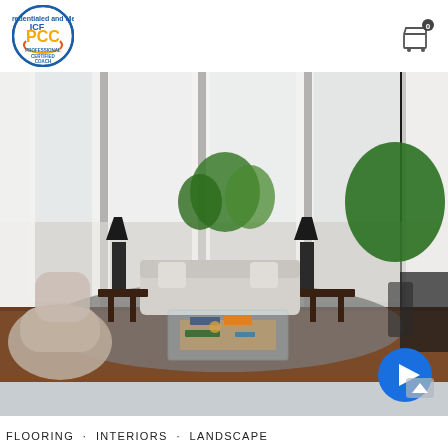[Figure (logo): ICF PCC Professional Certified Coach circular badge logo with blue/orange/gold coloring]
[Figure (photo): Modern luxury living room interior with large floor-to-ceiling windows, white curtains, light grey sofa, glass coffee table, patterned lounge chairs, indoor plants, dark wood floor, and black table lamps]
[Figure (other): Blue circular play button with right-pointing triangle]
FLOORING · INTERIORS · LANDSCAPE